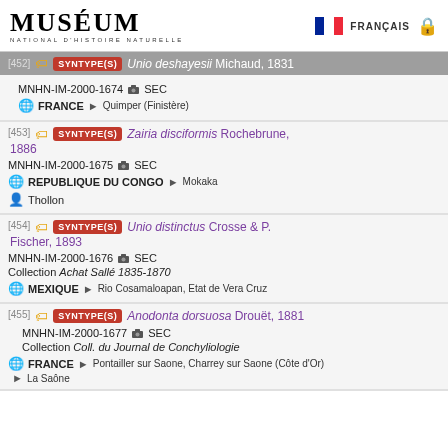MUSÉUM NATIONAL D'HISTOIRE NATURELLE | FRANÇAIS
[452] SYNTYPE(S) Unio deshayesii Michaud, 1831 | MNHN-IM-2000-1674 SEC | FRANCE > Quimper (Finistère)
[453] SYNTYPE(S) Zairia disciformis Rochebrune, 1886 | MNHN-IM-2000-1675 SEC | REPUBLIQUE DU CONGO > Mokaka | Thollon
[454] SYNTYPE(S) Unio distinctus Crosse & P. Fischer, 1893 | MNHN-IM-2000-1676 SEC | Collection Achat Sallé 1835-1870 | MEXIQUE > Rio Cosamaloapan, Etat de Vera Cruz
[455] SYNTYPE(S) Anodonta dorsuosa Drouët, 1881 | MNHN-IM-2000-1677 SEC | Collection Coll. du Journal de Conchyliologie | FRANCE > Pontailler sur Saone, Charrey sur Saone (Côte d'Or) | La Saône